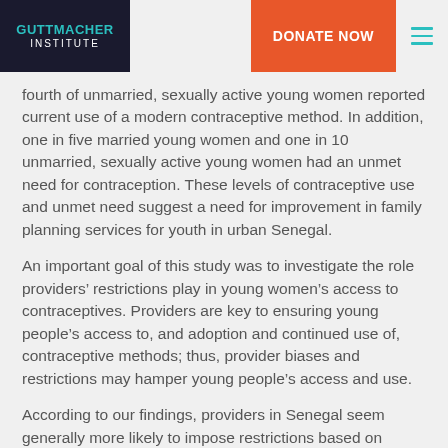GUTTMACHER INSTITUTE | DONATE NOW
fourth of unmarried, sexually active young women reported current use of a modern contraceptive method. In addition, one in five married young women and one in 10 unmarried, sexually active young women had an unmet need for contraception. These levels of contraceptive use and unmet need suggest a need for improvement in family planning services for youth in urban Senegal.
An important goal of this study was to investigate the role providers’ restrictions play in young women’s access to contraceptives. Providers are key to ensuring young people’s access to, and adoption and continued use of, contraceptive methods; thus, provider biases and restrictions may hamper young people’s access and use.
According to our findings, providers in Senegal seem generally more likely to impose restrictions based on